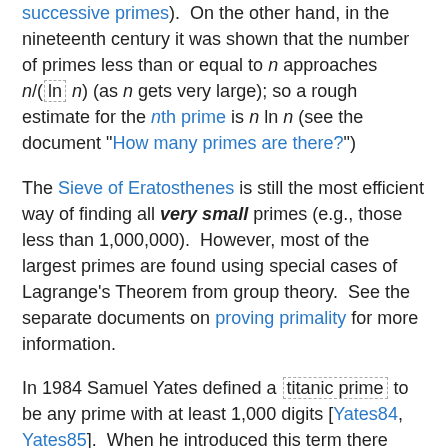successive primes). On the other hand, in the nineteenth century it was shown that the number of primes less than or equal to n approaches n/(ln n) (as n gets very large); so a rough estimate for the nth prime is n ln n (see the document "How many primes are there?")
The Sieve of Eratosthenes is still the most efficient way of finding all very small primes (e.g., those less than 1,000,000). However, most of the largest primes are found using special cases of Lagrange's Theorem from group theory. See the separate documents on proving primality for more information.
In 1984 Samuel Yates defined a titanic prime to be any prime with at least 1,000 digits [Yates84, Yates85]. When he introduced this term there were only 110 such primes known; now there are over 1000 times that many! And as computers and cryptology continually give new emphasis to search for ever larger primes, this number will continue to grow.